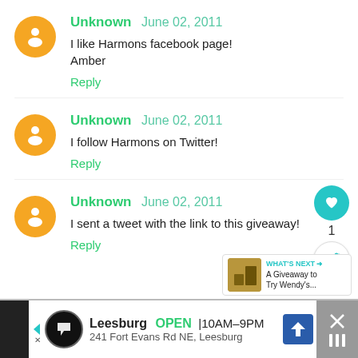Unknown June 02, 2011
I like Harmons facebook page!
Amber
Reply
Unknown June 02, 2011
I follow Harmons on Twitter!
Reply
Unknown June 02, 2011
I sent a tweet with the link to this giveaway!
Reply
[Figure (screenshot): Ad bar at bottom: Leesburg OPEN 10AM-9PM, 241 Fort Evans Rd NE, Leesburg]